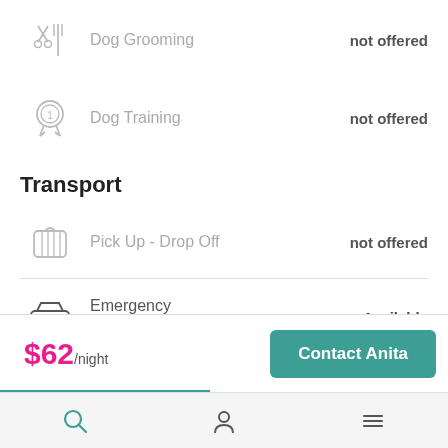Dog Grooming — not offered
Dog Training — not offered
Transport
Pick Up - Drop Off — not offered
Emergency Transport — Available
$62/night
Contact Anita